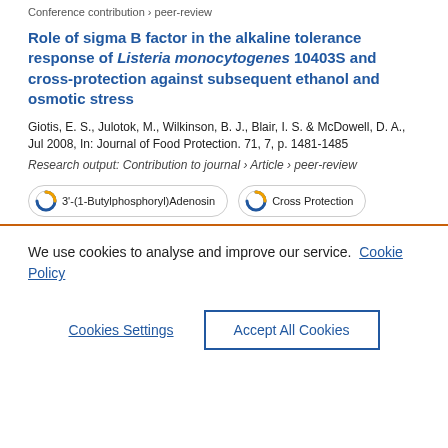Conference contribution › peer-review
Role of sigma B factor in the alkaline tolerance response of Listeria monocytogenes 10403S and cross-protection against subsequent ethanol and osmotic stress
Giotis, E. S., Julotok, M., Wilkinson, B. J., Blair, I. S. & McDowell, D. A., Jul 2008, In: Journal of Food Protection. 71, 7, p. 1481-1485
Research output: Contribution to journal › Article › peer-review
3'-(1-Butylphosphoryl)Adenosin   Cross Protection
We use cookies to analyse and improve our service. Cookie Policy
Cookies Settings   Accept All Cookies